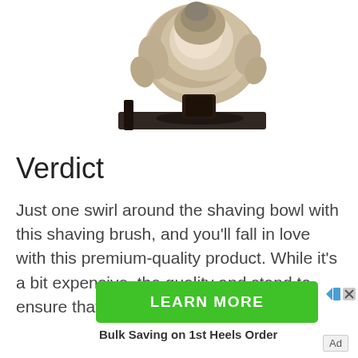[Figure (photo): A shaving brush with fluffy bristles resting on a dark rectangular stand, viewed from a slight angle showing the base and bristles.]
Verdict
Just one swirl around the shaving bowl with this shaving brush, and you’ll fall in love with this premium-quality product. While it’s a bit expensive, the quality and stand to ensure that
[Figure (other): Green LEARN MORE advertisement button with ad close icons (play and X) to the right, and bold text below reading 'Bulk Saving on 1st Heels Order']
Ad